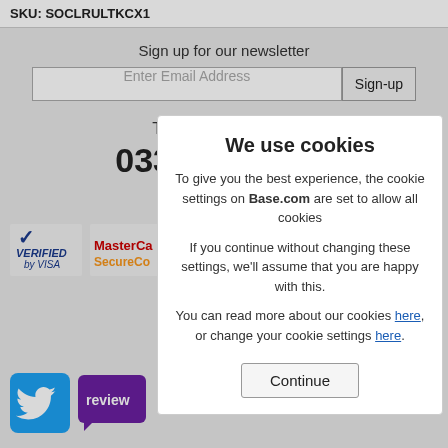SKU: SOCLRULTKCX1
Sign up for our newsletter
Enter Email Address
Sign-up
Telephone Number
03301 233903
Lines open 9... (exclu...
[Figure (logo): Verified by Visa logo]
[Figure (logo): MasterCard SecureCode logo (partially visible)]
Delivery P...
Privacy Notic...
Co...
[Figure (logo): Twitter bird logo (blue square)]
[Figure (logo): Reviews logo (purple bubble, partially visible)]
We use cookies
To give you the best experience, the cookie settings on Base.com are set to allow all cookies
If you continue without changing these settings, we'll assume that you are happy with this.
You can read more about our cookies here, or change your cookie settings here.
Continue